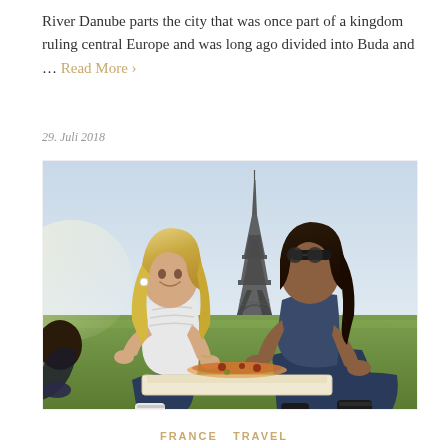River Danube parts the city that was once part of a kingdom ruling central Europe and was long ago divided into Buda and … Read More ›
29. Juli 2018
[Figure (photo): Two young women sitting on grass in front of the Eiffel Tower in Paris, sharing a pizza from a box. One woman has long blonde hair, the other has long dark hair and sunglasses on her head. The Eiffel Tower is visible in the background against a light sky.]
FRANCE  TRAVEL